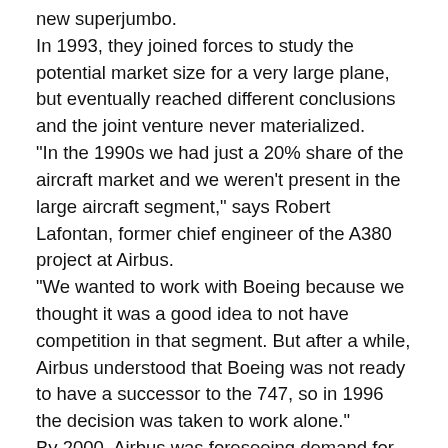new superjumbo.
In 1993, they joined forces to study the potential market size for a very large plane, but eventually reached different conclusions and the joint venture never materialized.
"In the 1990s we had just a 20% share of the aircraft market and we weren't present in the large aircraft segment," says Robert Lafontan, former chief engineer of the A380 project at Airbus.
"We wanted to work with Boeing because we thought it was a good idea to not have competition in that segment. But after a while, Airbus understood that Boeing was not ready to have a successor to the 747, so in 1996 the decision was taken to work alone."
By 2000, Airbus was foreseeing demand for 1,200 jumbo jets in the following two decades -- and planned to capture about half that market. Boeing's estimate was about a third of that, which is why it decided to invest in new variants of the existing 747 rather than make an entirely new plane.
Airbus pressed on. The project, which had been known until